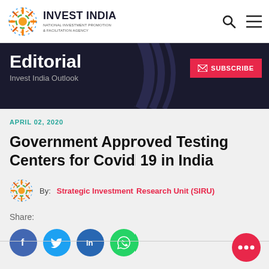[Figure (logo): Invest India logo with sunburst icon and text 'INVEST INDIA - National Investment Promotion & Facilitation Agency']
Editorial
Invest India Outlook
APRIL 02, 2020
Government Approved Testing Centers for Covid 19 in India
By: Strategic Investment Research Unit (SIRU)
Share: